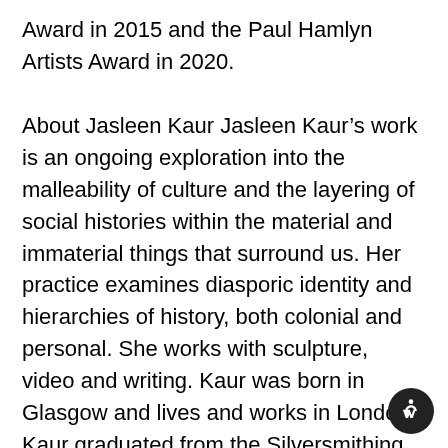Award in 2015 and the Paul Hamlyn Artists Award in 2020.
About Jasleen Kaur Jasleen Kaur's work is an ongoing exploration into the malleability of culture and the layering of social histories within the material and immaterial things that surround us. Her practice examines diasporic identity and hierarchies of history, both colonial and personal. She works with sculpture, video and writing. Kaur was born in Glasgow and lives and works in London. Kaur graduated from the Silversmithing and Jewellery department of Glasgow School of Art in 2008 and went on to study Applied Art at the Royal College of Art in 2009-10.